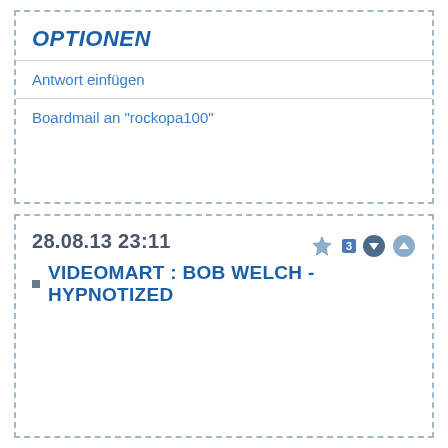OPTIONEN
Antwort einfügen
Boardmail an "rockopa100"
28.08.13 23:11
VIDEOMART : BOB WELCH - HYPNOTIZED